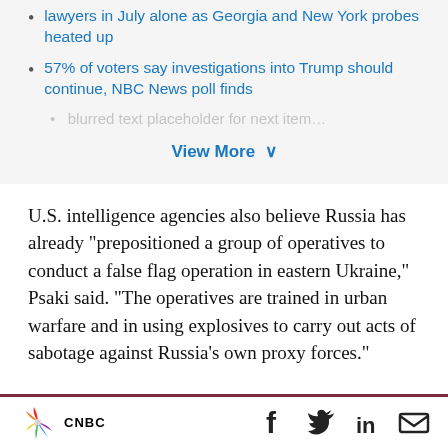lawyers in July alone as Georgia and New York probes heated up
57% of voters say investigations into Trump should continue, NBC News poll finds
View More ∨
U.S. intelligence agencies also believe Russia has already “prepositioned a group of operatives to conduct a false flag operation in eastern Ukraine,” Psaki said. “The operatives are trained in urban warfare and in using explosives to carry out acts of sabotage against Russia’s own proxy forces.”
CNBC logo with social media icons: Facebook, Twitter, LinkedIn, Email